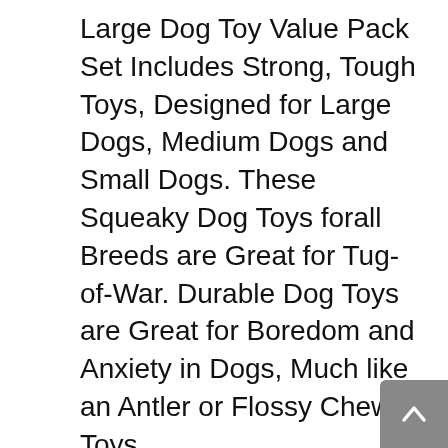Large Dog Toy Value Pack Set Includes Strong, Tough Toys, Designed for Large Dogs, Medium Dogs and Small Dogs. These Squeaky Dog Toys forall Breeds are Great for Tug-of-War. Durable Dog Toys are Great for Boredom and Anxiety in Dogs, Much like an Antler or Flossy Chew Toys.
100% MONEY BACK GUARANTEE – We Are So Certain That Your Dog and Puppy Will Love These Stuffed Dog Toys That We Offer a Full Refund if Dissatisfied. Aggressive Chewers May